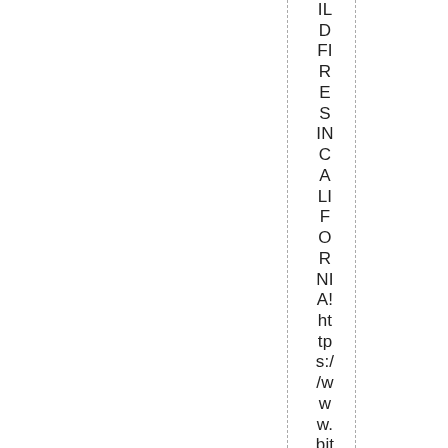ILD D FI R E S INC ALIFORNIA https://www.bitchute.com/vide